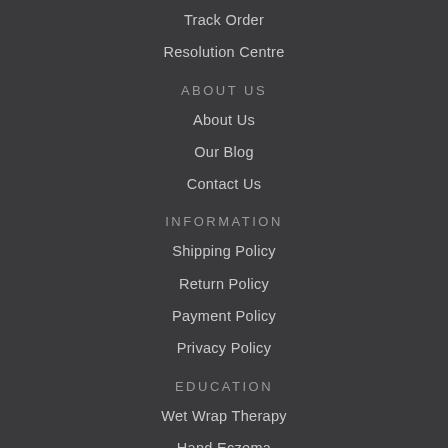Track Order
Resolution Centre
ABOUT US
About Us
Our Blog
Contact Us
INFORMATION
Shipping Policy
Return Policy
Payment Policy
Privacy Policy
EDUCATION
Wet Wrap Therapy
Hand Eczema